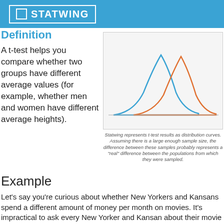STATWING
Definition
A t-test helps you compare whether two groups have different average values (for example, whether men and women have different average heights).
[Figure (continuous-plot): Distribution curves chart area showing t-test results as overlapping curves on a light gray background]
Statwing represents t-test results as distribution curves. Assuming there is a large enough sample size, the difference between these samples probably represents a "real" difference between the populations from which they were sampled.
Example
Let's say you're curious about whether New Yorkers and Kansans spend a different amount of money per month on movies. It's impractical to ask every New Yorker and Kansan about their movie spending, so instead you ask a sample of each—maybe 300 New Yorkers and 300 Kansans—and the averages are $14 and $18. The t-test asks whether that difference is probably representative of a real difference between